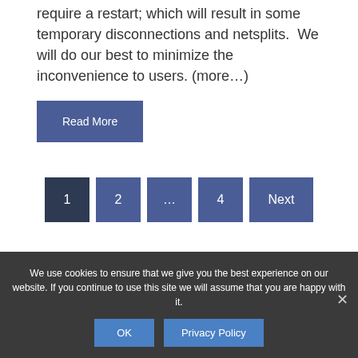require a restart; which will result in some temporary disconnections and netsplits.  We will do our best to minimize the inconvenience to users. (more…)
Read More
1  2  …  4  Next
IRC4Fun 741 online
We use cookies to ensure that we give you the best experience on our website. If you continue to use this site we will assume that you are happy with it.
OK  Privacy Policy